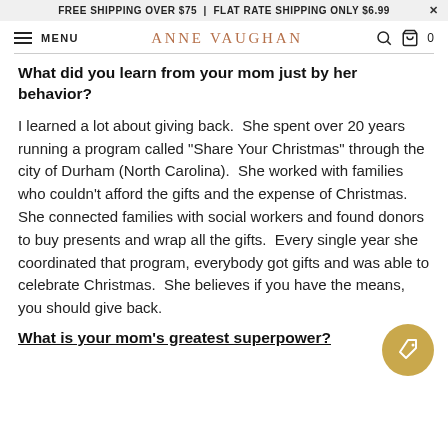FREE SHIPPING OVER $75 | FLAT RATE SHIPPING ONLY $6.99 X
MENU  ANNE VAUGHAN  [search] [bag] 0
What did you learn from your mom just by her behavior?
I learned a lot about giving back.  She spent over 20 years running a program called "Share Your Christmas" through the city of Durham (North Carolina).  She worked with families who couldn't afford the gifts and the expense of Christmas.  She connected families with social workers and found donors to buy presents and wrap all the gifts.  Every single year she coordinated that program, everybody got gifts and was able to celebrate Christmas.  She believes if you have the means, you should give back.
What is your mom's greatest superpower?